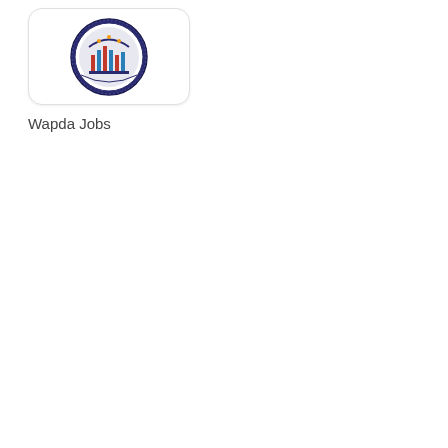[Figure (logo): Wapda Jobs app icon showing a circular emblem/badge with blue and red colors, depicting a government/utility organization logo inside a rounded square white card]
Wapda Jobs